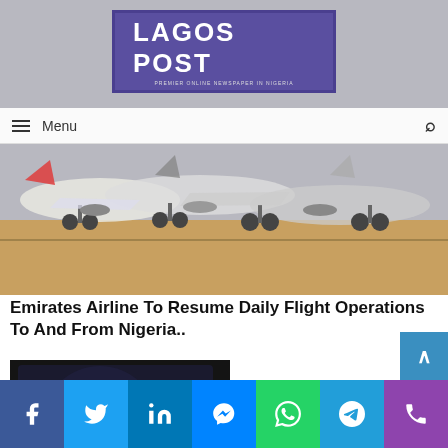[Figure (logo): Lagos Post newspaper logo — purple box with white text reading LAGOS POST and tagline PREMIER ONLINE NEWSPAPER IN NIGERIA]
Menu
[Figure (photo): Photograph of multiple aircraft/planes parked on tarmac, underside view showing wheels and fuselage]
Emirates Airline To Resume Daily Flight Operations To And From Nigeria..
[Figure (screenshot): Screenshot/photo showing a computer monitor with Windows 11 interface displayed, blue swirl logo on dark background]